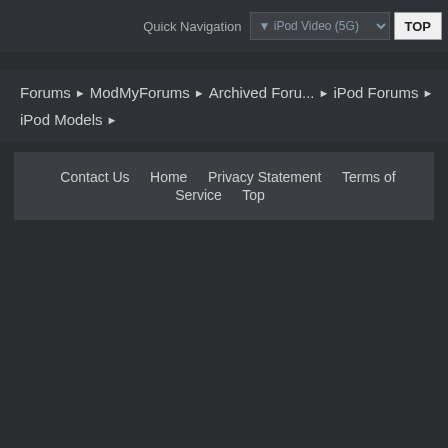Quick Navigation  ▼ iPod Video (5G)  TOP
Forums ▶ ModMyForums ▶ Archived Foru... ▶ iPod Forums ▶ iPod Models ▶
Contact Us  Home  Privacy Statement  Terms of Service  Top